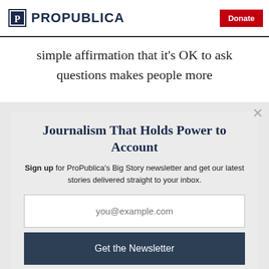ProPublica | Donate
simple affirmation that it's OK to ask questions makes people more
Journalism That Holds Power to Account
Sign up for ProPublica's Big Story newsletter and get our latest stories delivered straight to your inbox.
you@example.com
Get the Newsletter
No thanks, I'm all set
This site is protected by reCAPTCHA and the Google Privacy Policy and Terms of Service apply.